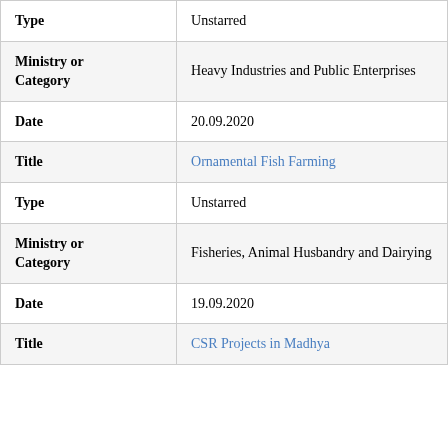| Field | Value |
| --- | --- |
| Type | Unstarred |
| Ministry or Category | Heavy Industries and Public Enterprises |
| Date | 20.09.2020 |
| Title | Ornamental Fish Farming |
| Type | Unstarred |
| Ministry or Category | Fisheries, Animal Husbandry and Dairying |
| Date | 19.09.2020 |
| Title | CSR Projects in Madhya |